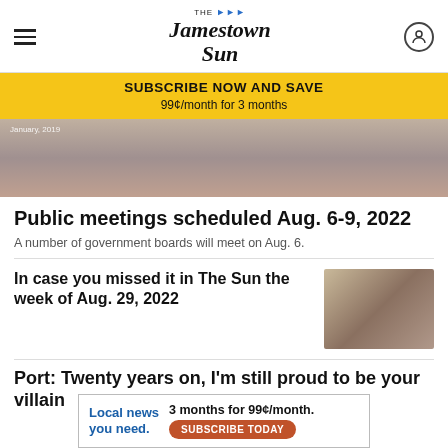THE Jamestown Sun
SUBSCRIBE NOW AND SAVE
99¢/month for 3 months
[Figure (photo): Partial hero image of a person, date overlay: January, 2019]
Public meetings scheduled Aug. 6-9, 2022
A number of government boards will meet on Aug. 6.
In case you missed it in The Sun the week of Aug. 29, 2022
[Figure (photo): Thumbnail photo of a person standing near a screen at a meeting]
Port: Twenty years on, I'm still proud to be your villain
Local news you need. 3 months for 99¢/month. SUBSCRIBE TODAY